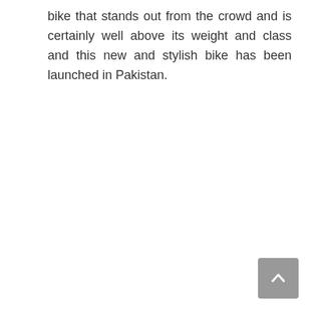bike that stands out from the crowd and is certainly well above its weight and class and this new and stylish bike has been launched in Pakistan.
[Figure (other): A grey scroll-to-top button with an upward chevron arrow, positioned in the bottom-right corner of the page.]